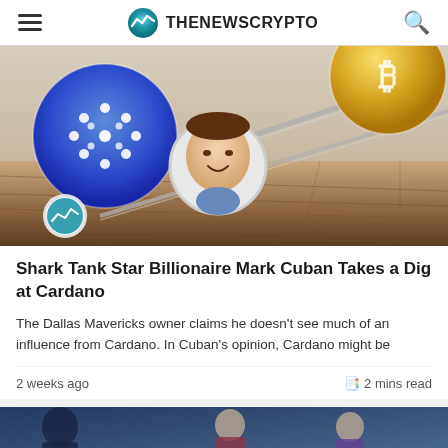THENEWSCRYPTO
[Figure (photo): Composite illustration showing Cardano (ADA) blue coin logo on left, a Bitcoin gold coin on upper right, and Mark Cuban's face in a circular frame in center, over a wooden floor background]
Shark Tank Star Billionaire Mark Cuban Takes a Dig at Cardano
The Dallas Mavericks owner claims he doesn't see much of an influence from Cardano. In Cuban's opinion, Cardano might be
2 weeks ago
📋 2 mins read
[Figure (photo): Partial view of a second news article image showing people in what appears to be a conference or classroom setting]